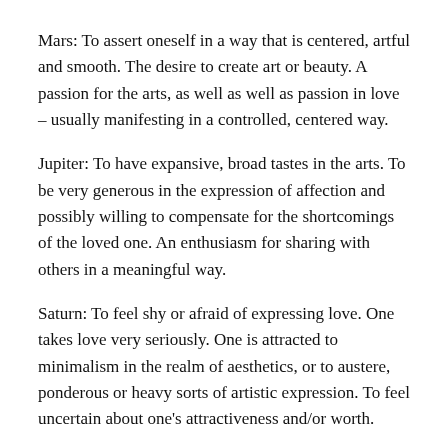Mars: To assert oneself in a way that is centered, artful and smooth. The desire to create art or beauty. A passion for the arts, as well as well as passion in love – usually manifesting in a controlled, centered way.
Jupiter: To have expansive, broad tastes in the arts. To be very generous in the expression of affection and possibly willing to compensate for the shortcomings of the loved one. An enthusiasm for sharing with others in a meaningful way.
Saturn: To feel shy or afraid of expressing love. One takes love very seriously. One is attracted to minimalism in the realm of aesthetics, or to austere, ponderous or heavy sorts of artistic expression. To feel uncertain about one's attractiveness and/or worth.
Chiron: To experience deeper and deeper meaning in